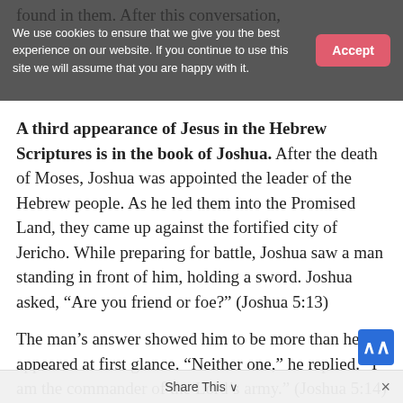found in them. After this conversation,
We use cookies to ensure that we give you the best experience on our website. If you continue to use this site we will assume that you are happy with it. Accept
A third appearance of Jesus in the Hebrew Scriptures is in the book of Joshua. After the death of Moses, Joshua was appointed the leader of the Hebrew people. As he led them into the Promised Land, they came up against the fortified city of Jericho. While preparing for battle, Joshua saw a man standing in front of him, holding a sword. Joshua asked, “Are you friend or foe?” (Joshua 5:13)
The man’s answer showed him to be more than he appeared at first glance. “Neither one,” he replied. “I am the commander of the Lord’s army.” (Joshua 5:14) At this, Joshua fell on his face
Share This